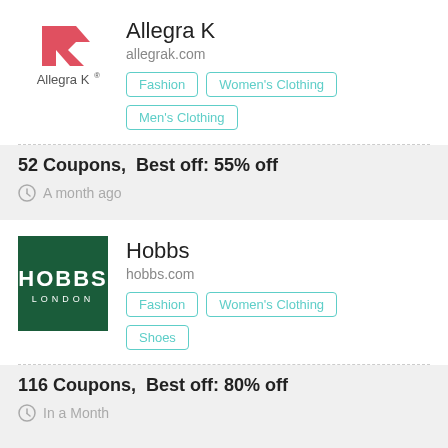[Figure (logo): Allegra K logo with red geometric K shape and text 'Allegra K']
Allegra K
allegrak.com
Fashion
Women's Clothing
Men's Clothing
52 Coupons,  Best off: 55% off
A month ago
[Figure (logo): Hobbs London logo: white text HOBBS LONDON on dark green background]
Hobbs
hobbs.com
Fashion
Women's Clothing
Shoes
116 Coupons,  Best off: 80% off
In a Month